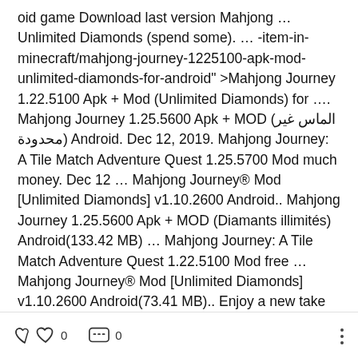oid game Download last version Mahjong … Unlimited Diamonds (spend some). … -item-in-minecraft/mahjong-journey-1225100-apk-mod-unlimited-diamonds-for-android" >Mahjong Journey 1.22.5100 Apk + Mod (Unlimited Diamonds) for …. Mahjong Journey 1.25.5600 Apk + MOD (الماس غير محدودة) Android. Dec 12, 2019. Mahjong Journey: A Tile Match Adventure Quest 1.25.5700 Mod much money. Dec 12 … Mahjong Journey® Mod [Unlimited Diamonds] v1.10.2600 Android.. Mahjong Journey 1.25.5600 Apk + MOD (Diamants illimités) Android(133.42 MB) … Mahjong Journey: A Tile Match Adventure Quest 1.22.5100 Mod free … Mahjong Journey® Mod [Unlimited Diamonds] v1.10.2600 Android(73.41 MB).. Enjoy a new take on Mahjong Shanghai as you h
0  0